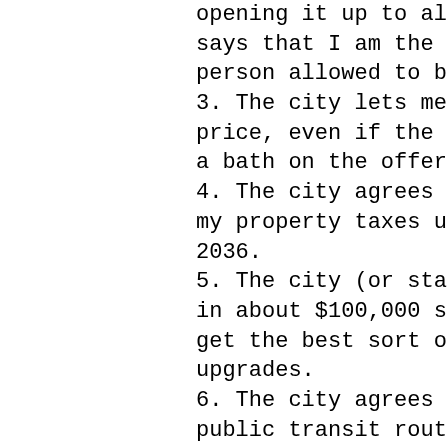opening it up to all buyers, says that I am the only person allowed to buy it.
3. The city lets me name my price, even if the city takes a bath on the offer.
4. The city agrees to forgive my property taxes until, say, 2036.
5. The city (or state) throws in about $100,000 so I can get the best sort of upgrades.
6. The city agrees to reroute public transit routes to my liking.
Because as far as I can tell, that's what redevelopment officials are promising the big-time developers. Isn't it? Is there anything even